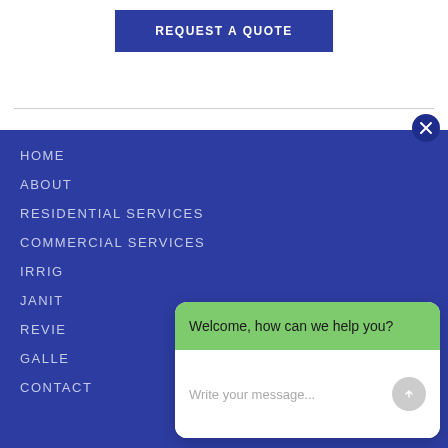REQUEST A QUOTE
HOME
ABOUT
RESIDENTIAL SERVICES
COMMERCIAL SERVICES
IRRIG...
JANIT...
REVIE...
GALLE...
CONTACT
Welcome, how can we help you?
Write your message...